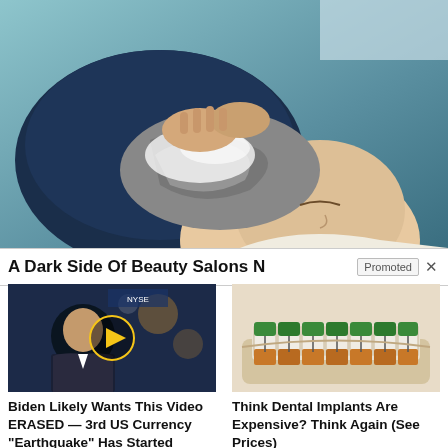[Figure (photo): Woman having her hair washed at a salon, head leaning back into a blue shampoo bowl, eyes closed, hands of stylist visible]
A Dark Side Of Beauty Salons N   Promoted ×
[Figure (photo): Video thumbnail of a man in a suit sitting at a news desk with NYSE sign visible, with a gold play button overlay]
Biden Likely Wants This Video ERASED — 3rd US Currency "Earthquake" Has Started
🔥 1,231
[Figure (photo): Dental implant model showing teeth with green and orange colored dental work on a beige mold]
Think Dental Implants Are Expensive? Think Again (See Prices)
🔥 50,103